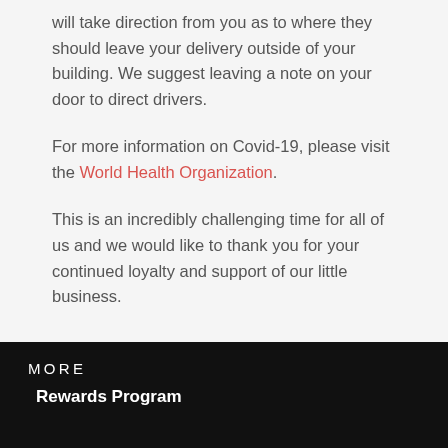will take direction from you as to where they should leave your delivery outside of your building. We suggest leaving a note on your door to direct drivers.
For more information on Covid-19, please visit the World Health Organization.
This is an incredibly challenging time for all of us and we would like to thank you for your continued loyalty and support of our little business.
MORE
Rewards Program